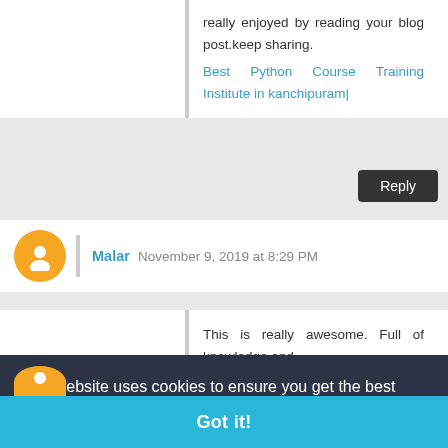really enjoyed by reading your blog post.keep sharing.
Best Python Course Training Institute in kanchipuram|
Reply
Malar November 9, 2019 at 8:29 PM
This is really awesome. Full of knowledge and
This website uses cookies to ensure you get the best experience on our website.
Learn more
Got it!